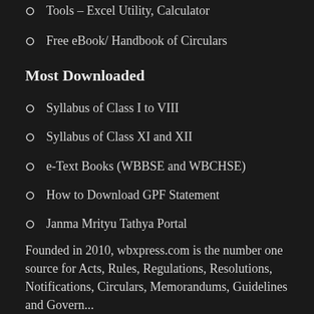Tools – Excel Utility, Calculator
Free eBook/ Handbook of Circulars
Most Downloaded
Syllabus of Class I to VIII
Syllabus of Class XI and XII
e-Text Books (WBBSE and WBCHSE)
How to Download GPF Statement
Janma Mrityu Tathya Portal
Founded in 2010, wbxpress.com is the number one source for Acts, Rules, Regulations, Resolutions, Notifications, Circulars, Memorandums, Guidelines and Government...